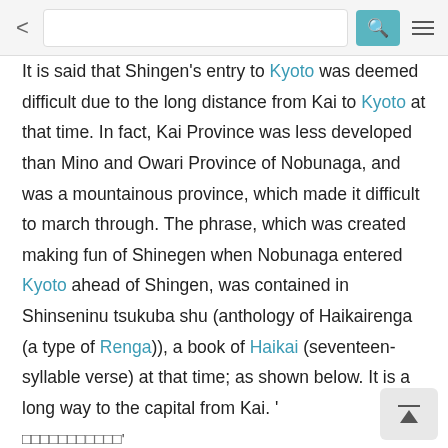Browser navigation bar with back button, search input, search icon, and menu
It is said that Shingen's entry to Kyoto was deemed difficult due to the long distance from Kai to Kyoto at that time. In fact, Kai Province was less developed than Mino and Owari Province of Nobunaga, and was a mountainous province, which made it difficult to march through. The phrase, which was created making fun of Shinegen when Nobunaga entered Kyoto ahead of Shingen, was contained in Shinseninu tsukuba shu (anthology of Haikairenga (a type of Renga)), a book of Haikai (seventeen-syllable verse) at that time; as shown below. It is a long way to the capital from Kai. '
□□□□□□□□□□□'